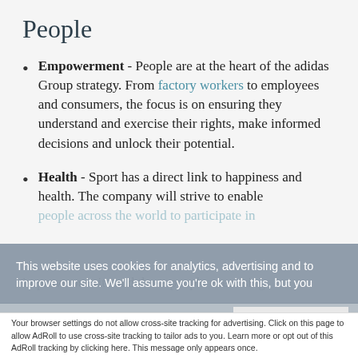People
Empowerment - People are at the heart of the adidas Group strategy. From factory workers to employees and consumers, the focus is on ensuring they understand and exercise their rights, make informed decisions and unlock their potential.
Health - Sport has a direct link to happiness and health. The company will strive to enable people across the world to participate in...
This website uses cookies for analytics, advertising and to improve our site. We'll assume you're ok with this, but you
Accept and Close ✕
Your browser settings do not allow cross-site tracking for advertising. Click on this page to allow AdRoll to use cross-site tracking to tailor ads to you. Learn more or opt out of this AdRoll tracking by clicking here. This message only appears once.